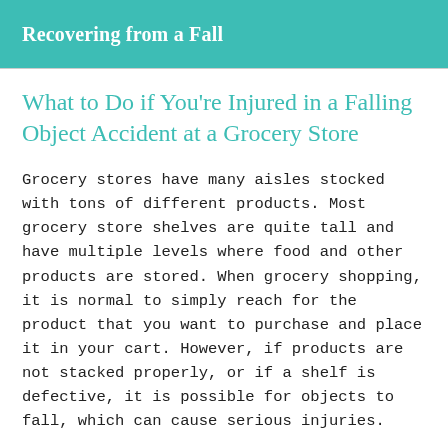Recovering from a Fall
What to Do if You're Injured in a Falling Object Accident at a Grocery Store
Grocery stores have many aisles stocked with tons of different products. Most grocery store shelves are quite tall and have multiple levels where food and other products are stored. When grocery shopping, it is normal to simply reach for the product that you want to purchase and place it in your cart. However, if products are not stacked properly, or if a shelf is defective, it is possible for objects to fall, which can cause serious injuries.